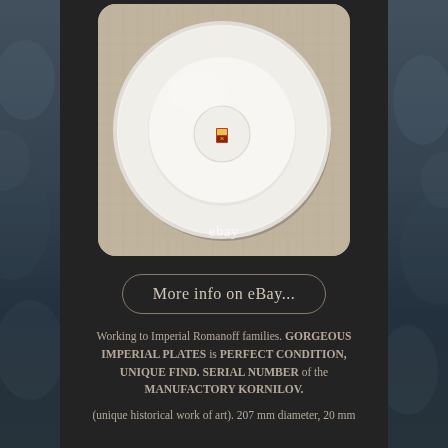[Figure (photo): Bottom view of a white porcelain plate showing a small manufacturer's mark stamp in the center, photographed on a beige/linen background. eBay watermark visible at bottom.]
More info on eBay...
Working to Imperial Romanoff families. GORGEOUS IMPERIAL PLATES is PERFECT CONDITION, UNIQUE FIND. SERIAL NUMBER of the MANUFACTORY KORNILOV.
(unique historical work of art). 207 mm diameter, 20 mm